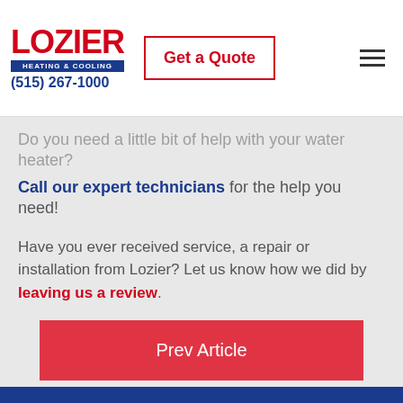Lozier Heating & Cooling | Get a Quote | (515) 267-1000
Do you need a little bit of help with your water heater?
Call our expert technicians for the help you need!
Have you ever received service, a repair or installation from Lozier? Let us know how we did by leaving us a review.
Prev Article
Next Article